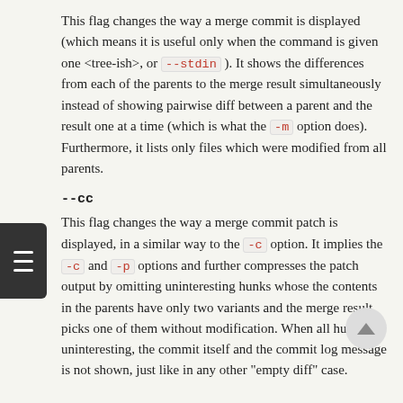This flag changes the way a merge commit is displayed (which means it is useful only when the command is given one <tree-ish>, or --stdin ). It shows the differences from each of the parents to the merge result simultaneously instead of showing pairwise diff between a parent and the result one at a time (which is what the -m option does). Furthermore, it lists only files which were modified from all parents.
--cc
This flag changes the way a merge commit patch is displayed, in a similar way to the -c option. It implies the -c and -p options and further compresses the patch output by omitting uninteresting hunks whose the contents in the parents have only two variants and the merge result picks one of them without modification. When all hunks are uninteresting, the commit itself and the commit log message is not shown, just like in any other "empty diff" case.